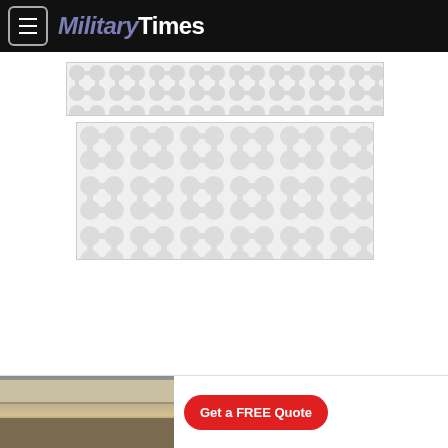Military Times
[Figure (screenshot): Ad placeholder with repeating bubble/dumbbell pattern, narrow banner]
[Figure (screenshot): Ad placeholder with repeating bubble/dumbbell pattern, large rectangle]
[Figure (screenshot): Bottom advertisement showing kitchen image and Get a FREE Quote button]